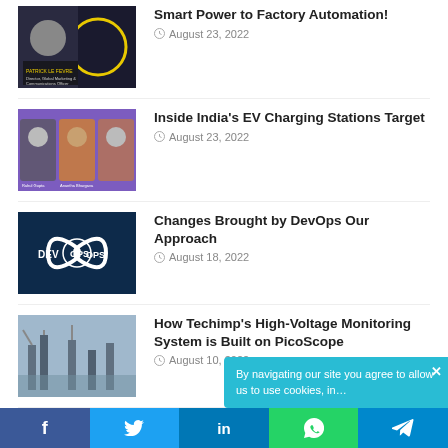[Figure (photo): Man in suit with yellow circle design and text overlay - Patrick Le Fevre]
Smart Power to Factory Automation!
August 23, 2022
[Figure (photo): Three men in purple/orange panel background - EV Charging Stations]
Inside India's EV Charging Stations Target
August 23, 2022
[Figure (photo): DevOps infinity loop logo on dark blue background]
Changes Brought by DevOps Our Approach
August 18, 2022
[Figure (photo): High voltage electricity pylons and substation]
How Techimp's High-Voltage Monitoring System is Built on PicoScope
August 10, 2022
[Figure (photo): Green electric vehicle charging cable closeup]
Using Stored Solar Energy to Meet the Demands of EV Fast Charg…
Cookie notice: By navigating our site you agree to allow us to use cookies, in
f   t   in   [WhatsApp icon]   [Telegram icon]